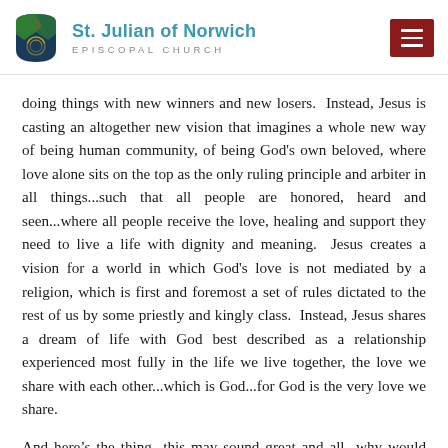St. Julian of Norwich EPISCOPAL CHURCH
doing things with new winners and new losers.  Instead, Jesus is casting an altogether new vision that imagines a whole new way of being human community, of being God's own beloved, where love alone sits on the top as the only ruling principle and arbiter in all things...such that all people are honored, heard and seen...where all people receive the love, healing and support they need to live a life with dignity and meaning.  Jesus creates a vision for a world in which God's love is not mediated by a religion, which is first and foremost a set of rules dictated to the rest of us by some priestly and kingly class.  Instead, Jesus shares a dream of life with God best described as a relationship experienced most fully in the life we live together, the love we share with each other...which is God...for God is the very love we share.
And here’s the thing...this may sound great and all...why would anyone not wish for this sort of world?  Well the